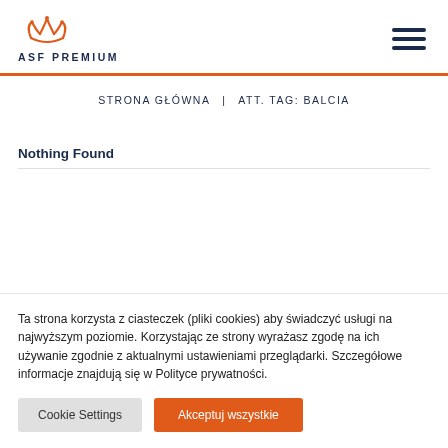[Figure (logo): ASF Premium logo with orange crown icon and dark navy text 'ASF PREMIUM']
STRONA GŁÓWNA | ATT. TAG: BALCIA
Nothing Found
Ta strona korzysta z ciasteczek (pliki cookies) aby świadczyć usługi na najwyższym poziomie. Korzystając ze strony wyrażasz zgodę na ich używanie zgodnie z aktualnymi ustawieniami przeglądarki. Szczegółowe informacje znajdują się w Polityce prywatności.
Cookie Settings | Akceptuj wszystkie